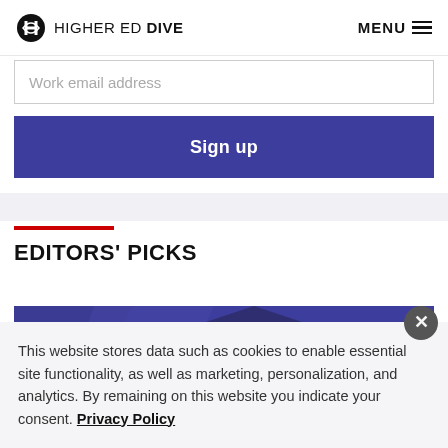HIGHER ED DIVE  MENU
Work email address
Sign up
EDITORS' PICKS
[Figure (photo): Graduation cap image with blue/purple tones]
This website stores data such as cookies to enable essential site functionality, as well as marketing, personalization, and analytics. By remaining on this website you indicate your consent. Privacy Policy